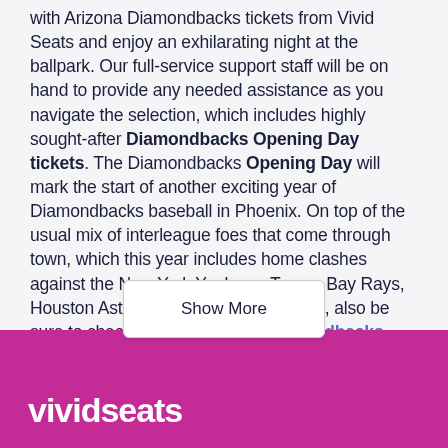with Arizona Diamondbacks tickets from Vivid Seats and enjoy an exhilarating night at the ballpark. Our full-service support staff will be on hand to provide any needed assistance as you navigate the selection, which includes highly sought-after Diamondbacks Opening Day tickets. The Diamondbacks Opening Day will mark the start of another exciting year of Diamondbacks baseball in Phoenix. On top of the usual mix of interleague foes that come through town, which this year includes home clashes against the New York Yankees, Tampa Bay Rays, Houston Astros, and Toronto Blue Jays, also be sure to check out the Arizona Diamondbacks schedule for other notable contests against teams like the Chicago Cubs, St. Louis Cardinals, Los Angeles… Francisco Giants and San Diego Padr…
Show More
vividseats